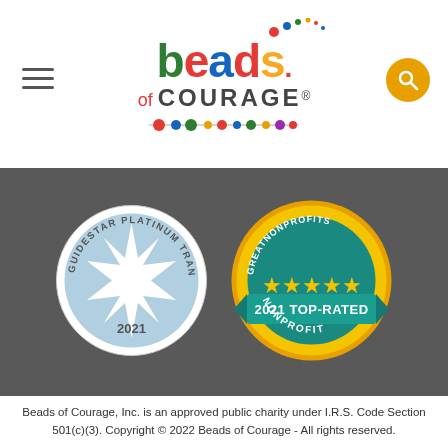[Figure (logo): Beads of Courage colorful logo with beads graphic and 'of COURAGE' subtitle]
[Figure (illustration): GuideStar Platinum Transparency 2021 seal (circular blue/white badge) and GreatNonprofits 2021 Top-Rated Nonprofit badge (gold coin with teal stars and banner)]
Beads of Courage, Inc. is an approved public charity under I.R.S. Code Section 501(c)(3). Copyright © 2022 Beads of Courage - All rights reserved.